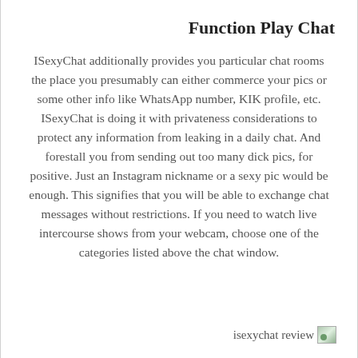Function Play Chat
ISexyChat additionally provides you particular chat rooms the place you presumably can either commerce your pics or some other info like WhatsApp number, KIK profile, etc. ISexyChat is doing it with privateness considerations to protect any information from leaking in a daily chat. And forestall you from sending out too many dick pics, for positive. Just an Instagram nickname or a sexy pic would be enough. This signifies that you will be able to exchange chat messages without restrictions. If you need to watch live intercourse shows from your webcam, choose one of the categories listed above the chat window.
isexychat review